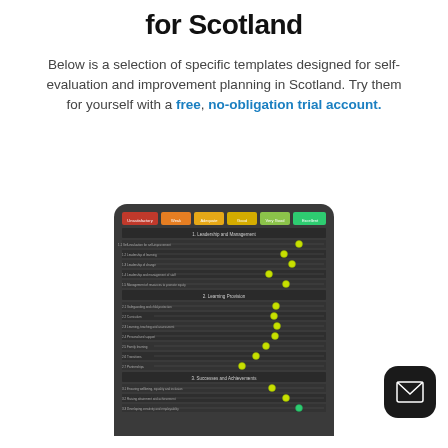for Scotland
Below is a selection of specific templates designed for self-evaluation and improvement planning in Scotland. Try them for yourself with a free, no-obligation trial account.
[Figure (screenshot): A dark-themed self-evaluation template interface for Scotland showing a rating scale with colored columns (red=Unsatisfactory, orange=Weak, amber=Adequate, yellow=Good, light green=Very Good, green=Excellent) and rows for Leadership and Management, Learning Provision, and Successes and Achievements sections, with yellow/green dot markers plotted on each row indicating ratings.]